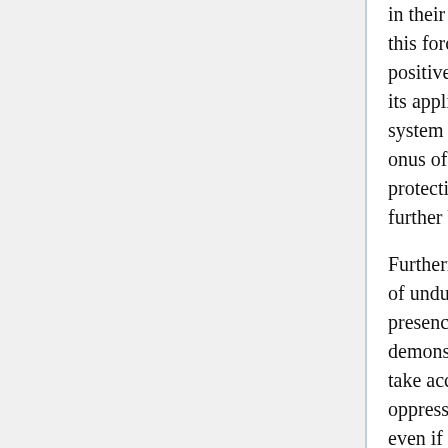in their lives. Although the recognition of this force in private relationship seems be positive recognition of women as oppressed, its application in reality is perpetuating the system of male dominance. By putting the onus of proof on the party seeking protection the legal principle sets up a further blockade for the disadvantaged.
Furthermore, the fact that the presumption of undue influence is often rebutted by presence of independent legal advice demonstrates the failure of the principle to take account of the longstanding system of oppression. Feminist theorist might say that even if a party has sought out legal advice this does not alone erase the pressures of dominance which have been put upon them from the social and legal system.